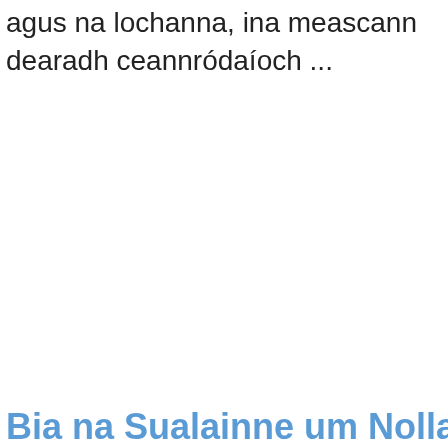agus na lochanna, ina meascann dearadh ceannródaíoch ...
Bia na Sualainne um Nollaig